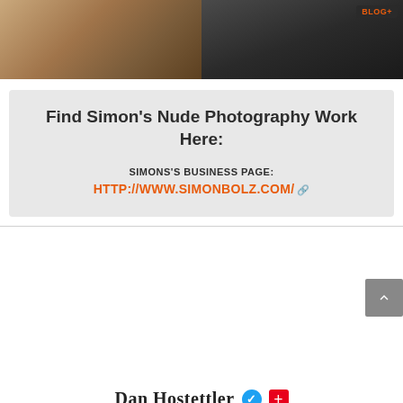[Figure (photo): Two photography images side by side: left shows a person in warm tones, right shows a darker image with a BLOG+ badge overlay]
Find Simon's Nude Photography Work Here:
SIMONS'S BUSINESS PAGE:
HTTP://WWW.SIMONBOLZ.COM/
Dan Hostettler
A traveler at heart, inspired by women, working along Swiss precision. Dan is a mediapreneur, photographer, author of several books and